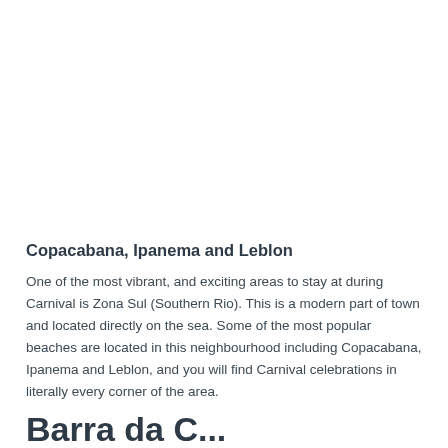Copacabana, Ipanema and Leblon
One of the most vibrant, and exciting areas to stay at during Carnival is Zona Sul (Southern Rio). This is a modern part of town and located directly on the sea. Some of the most popular beaches are located in this neighbourhood including Copacabana, Ipanema and Leblon, and you will find Carnival celebrations in literally every corner of the area.
Barra da...